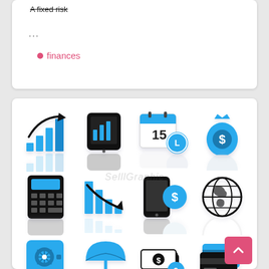A fixed risk
...
finances
[Figure (illustration): A 4x3 grid of finance-themed icons including: rising bar chart with arrow, tablet with chart, calendar with clock showing 15, money bag with dollar sign, calculator, declining bar chart with arrow, smartphone with dollar speech bubble, globe, safe/vault, umbrella, cash with dollar sign and number 9, credit cards. Icons are in blue and black with reflection effects.]